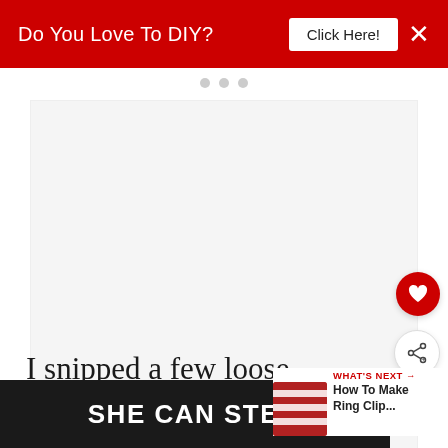Do You Love To DIY?  Click Here!  ×
[Figure (other): White advertisement placeholder block with three navigation dots above it]
[Figure (other): Red circular heart/favorite button icon on right side]
[Figure (other): White circular share/add button icon on right side]
I snipped a few loose threads and positioned the gathers so they looked pretty from the outside.
[Figure (other): WHAT'S NEXT → How To Make Ring Clip... thumbnail with red and white striped fabric image]
[Figure (other): SHE CAN STEM advertisement banner at bottom, dark background with white bold text, with logo on right]